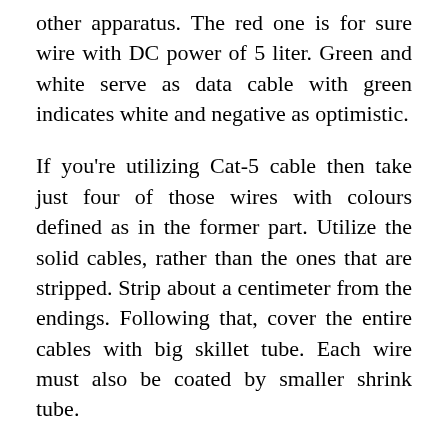other apparatus. The red one is for sure wire with DC power of 5 liter. Green and white serve as data cable with green indicates white and negative as optimistic.
If you're utilizing Cat-5 cable then take just four of those wires with colours defined as in the former part. Utilize the solid cables, rather than the ones that are stripped. Strip about a centimeter from the endings. Following that, cover the entire cables with big skillet tube. Each wire must also be coated by smaller shrink tube.
The next part is also significant in the process of creating USB cable. It's soldering the wires into the connector stand. Prior to start...